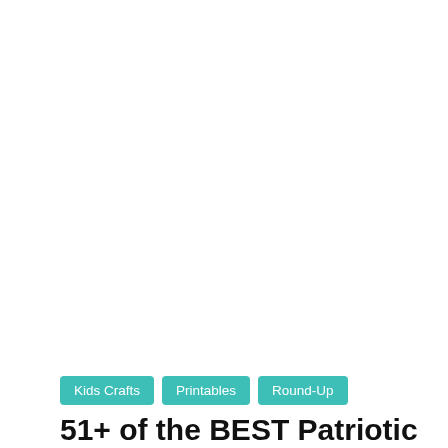[Figure (photo): Large white/blank image area occupying the top portion of the page]
Kids Crafts
Printables
Round-Up
51+ of the BEST Patriotic Crafts and FREE Printables